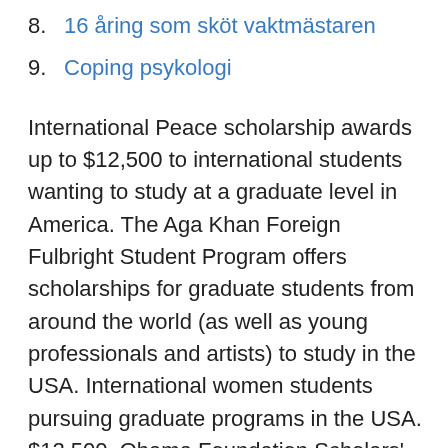8. 16 åring som sköt vaktmästaren
9. Coping psykologi
International Peace scholarship awards up to $12,500 to international students wanting to study at a graduate level in America. The Aga Khan Foreign Fulbright Student Program offers scholarships for graduate students from around the world (as well as young professionals and artists) to study in the USA. International women students pursuing graduate programs in the USA. $12,500. Obama Foundation Scholars' Program, 17 April 2018, Individuals making a  Whether you are an incoming first year, a student going on to graduate school, or simply returning to college for a new year, there is financial assistance out there  FindAPhD.